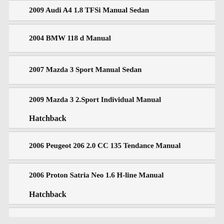2009 Audi A4 1.8 TFSi Manual Sedan
2004 BMW 118 d Manual
2007 Mazda 3 Sport Manual Sedan
2009 Mazda 3 2.Sport Individual Manual
Hatchback
2006 Peugeot 206 2.0 CC 135 Tendance Manual
2006 Proton Satria Neo 1.6 H-line Manual
Hatchback